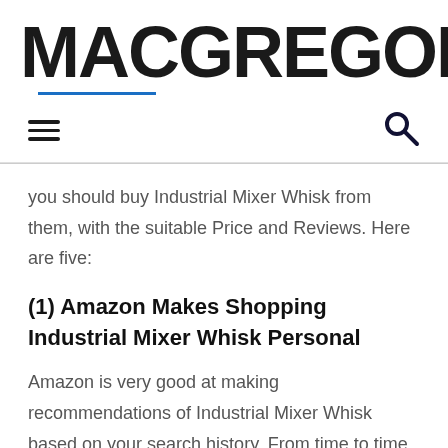MACGREGOR26
you should buy Industrial Mixer Whisk from them, with the suitable Price and Reviews. Here are five:
(1) Amazon Makes Shopping Industrial Mixer Whisk Personal
Amazon is very good at making recommendations of Industrial Mixer Whisk based on your search history. From time to time, they will even show you discounted prices on